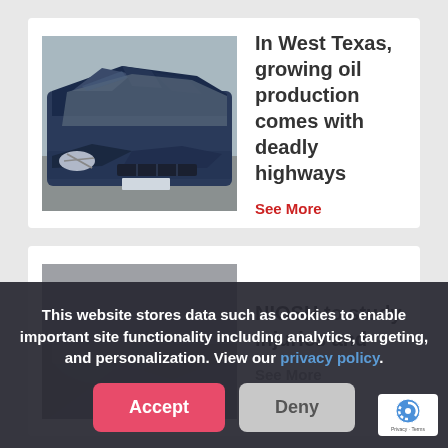[Figure (photo): Photo of a badly damaged blue car with crumpled front end and hood]
In West Texas, growing oil production comes with deadly highways
See More
[Figure (photo): Partially visible photo behind cookie consent overlay]
NIOSH to study injuries and
See More
This website stores data such as cookies to enable important site functionality including analytics, targeting, and personalization. View our privacy policy.
Accept
Deny